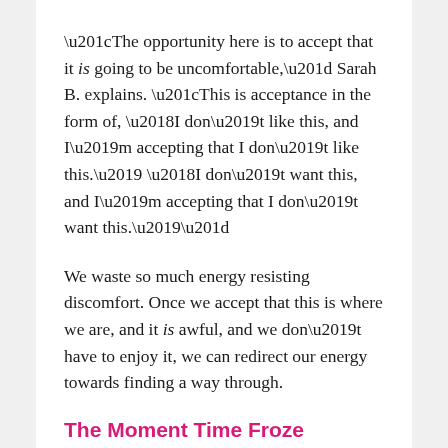“The opportunity here is to accept that it is going to be uncomfortable,” Sarah B. explains. “This is acceptance in the form of, ‘I don’t like this, and I’m accepting that I don’t like this.’ ‘I don’t want this, and I’m accepting that I don’t want this.’”
We waste so much energy resisting discomfort. Once we accept that this is where we are, and it is awful, and we don’t have to enjoy it, we can redirect our energy towards finding a way through.
The Moment Time Froze
Sarah B. knows this from experience.